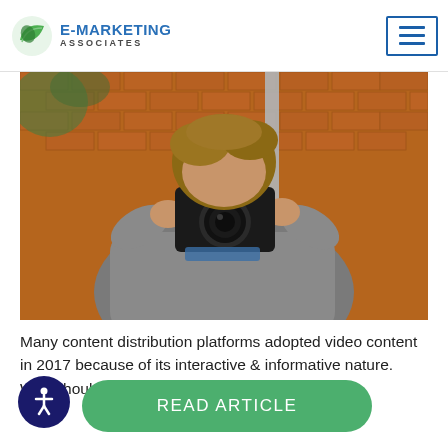E-MARKETING ASSOCIATES
[Figure (photo): Person holding a DSLR camera up to their face, photographing the viewer. They wear a grey jacket, with a brick wall and pole in the background.]
Many content distribution platforms adopted video content in 2017 because of its interactive & informative nature. Why should it matter to your hotel?
READ ARTICLE